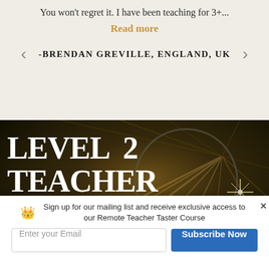You won't regret it. I have been teaching for 3+...
Read more
-BRENDAN GREVILLE, ENGLAND, UK
[Figure (photo): Dark dramatic background with circular hoop and radiating light beams, aerial arts/circus theme]
LEVEL 2 TEACHER TRAINING
Sign up for our mailing list and receive exclusive access to our Remote Teacher Taster Course
Enter your Email
Subscribe Now